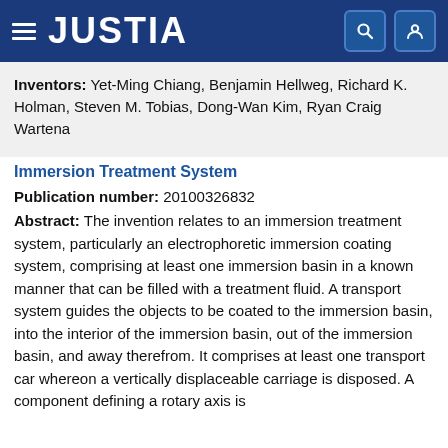JUSTIA
Inventors: Yet-Ming Chiang, Benjamin Hellweg, Richard K. Holman, Steven M. Tobias, Dong-Wan Kim, Ryan Craig Wartena
Immersion Treatment System
Publication number: 20100326832
Abstract: The invention relates to an immersion treatment system, particularly an electrophoretic immersion coating system, comprising at least one immersion basin in a known manner that can be filled with a treatment fluid. A transport system guides the objects to be coated to the immersion basin, into the interior of the immersion basin, out of the immersion basin, and away therefrom. It comprises at least one transport car whereon a vertically displaceable carriage is disposed. A component defining a rotary axis is